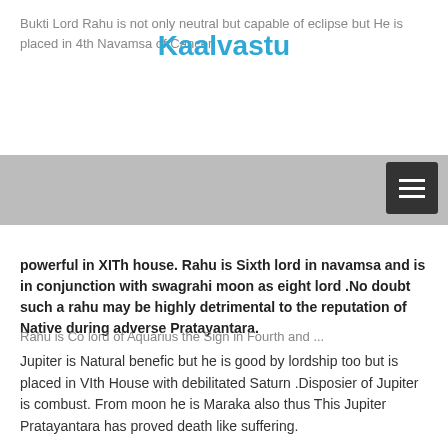Bukti Lord Rahu is not only neutral but capable of eclipse but He is placed in 4th Navamsa of Cancer
Kaalvastu
Rahu is Co lord of Aquarius the Sign in Fourth and [...]
powerful in XITh house. Rahu is Sixth lord in navamsa and is in conjunction with swagrahi moon as eight lord .No doubt such a rahu may be highly detrimental to the reputation of Native during adverse Pratayantara.
Jupiter is Natural benefic but he is good by lordship too but is placed in VIth House with debilitated Saturn .Disposier of Jupiter is combust. From moon he is Maraka also thus This Jupiter Pratayantara has proved death like suffering.
From arudh lagan Merc and Rahu are forming classical bandhan yoga
By sept 2015 Time is dangerous and imprisonment during this period is not impossible.